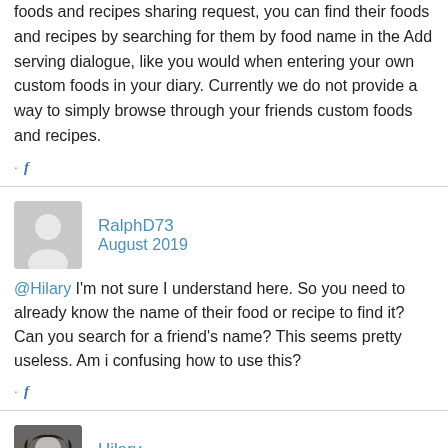foods and recipes sharing request, you can find their foods and recipes by searching for them by food name in the Add serving dialogue, like you would when entering your own custom foods in your diary. Currently we do not provide a way to simply browse through your friends custom foods and recipes.
· f
RalphD73
August 2019
@Hilary I'm not sure I understand here. So you need to already know the name of their food or recipe to find it? Can you search for a friend's name? This seems pretty useless. Am i confusing how to use this?
· f
Hilary
August 2019